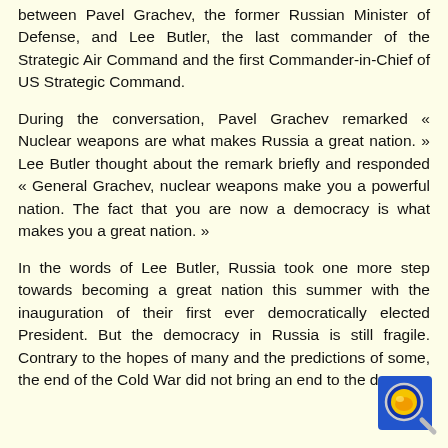between Pavel Grachev, the former Russian Minister of Defense, and Lee Butler, the last commander of the Strategic Air Command and the first Commander-in-Chief of US Strategic Command.
During the conversation, Pavel Grachev remarked « Nuclear weapons are what makes Russia a great nation. » Lee Butler thought about the remark briefly and responded « General Grachev, nuclear weapons make you a powerful nation. The fact that you are now a democracy is what makes you a great nation. »
In the words of Lee Butler, Russia took one more step towards becoming a great nation this summer with the inauguration of their first ever democratically elected President. But the democracy in Russia is still fragile. Contrary to the hopes of many and the predictions of some, the end of the Cold War did not bring an end to the dangers...
[Figure (illustration): A blue and yellow circular icon/logo in the bottom-right corner of the page, showing a magnifying glass with an orange/yellow lemon or citrus icon.]